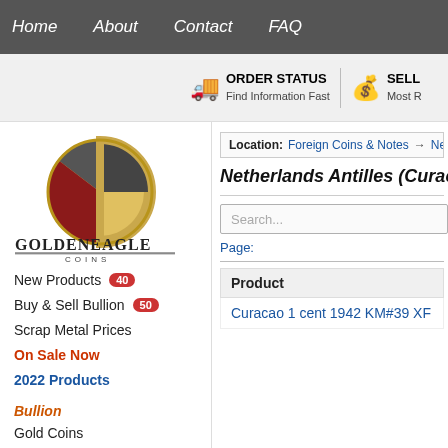Home  About  Contact  FAQ
ORDER STATUS Find Information Fast | SELL Most R...
[Figure (logo): Golden Eagle Coins logo: circular coin design with gold, dark gray, and red segments, with text GOLDENEAGLE COINS below]
New Products 40
Buy & Sell Bullion 50
Scrap Metal Prices
On Sale Now
2022 Products
Bullion
Gold Coins
Gold Bars
Silver Coins
Silver Bars
Platinum
Palladium
Location: Foreign Coins & Notes → Netherla...
Netherlands Antilles (Curacao) Wo...
Search...
Page:
| Product |
| --- |
| Curacao 1 cent 1942 KM#39 XF |